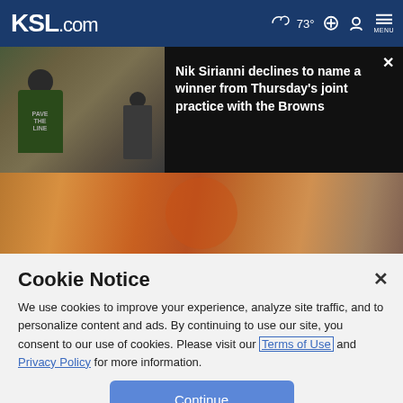KSL.com  73°  MENU
Nik Sirianni declines to name a winner from Thursday's joint practice with the Browns
[Figure (photo): Photo of a man in a green 'PAVE THE LINE' shirt at a press backdrop with NFL Draft logos, alongside another person with a phone]
[Figure (photo): Sports action photo showing a football player in orange uniform catching or holding a ball, blurred background with other players]
Cookie Notice
We use cookies to improve your experience, analyze site traffic, and to personalize content and ads. By continuing to use our site, you consent to our use of cookies. Please visit our Terms of Use and Privacy Policy for more information.
Continue